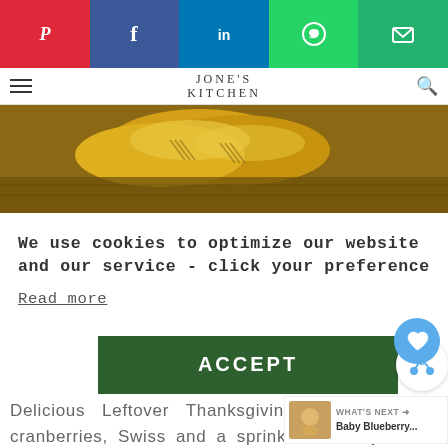[Figure (screenshot): Social media share bar with Pinterest (red), Facebook (dark blue), LinkedIn (blue), WhatsApp (green), Email (teal) buttons]
JONE'S KITCHEN
[Figure (photo): Golden pastry turnovers on a wooden board, partially visible]
We use cookies to optimize our website and our service - click your preference
Read more
[Figure (screenshot): Green ACCEPT button and share circle button]
Delicious Leftover Thanksgiving turnovers with cranberries, Swiss and a sprinkle of thinly sliced onions.
[Figure (screenshot): What's Next widget showing Baby Blueberry... with thumbnail]
[Figure (screenshot): Green advertisement banner: cookies for kids cancer - turn your cookies into a CURE LEARN HOW]